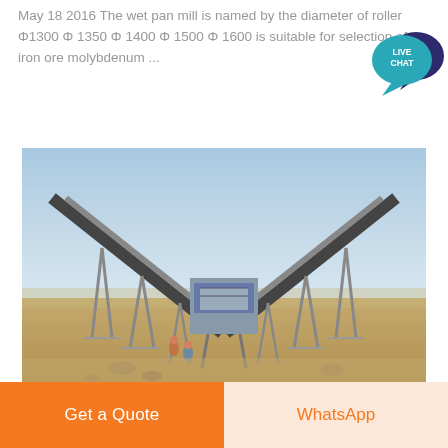May 18 2016 The wet pan mill is named by the diameter of roller Φ1300 Φ 1350 Φ 1400 Φ 1500 Φ 1600 is suitable for selection of iron ore molybdenum ...
[Figure (photo): Outdoor industrial site showing large conveyor belt systems arranged in an X-pattern over sandy terrain, with a central processing unit and workers visible at the base.]
Get a Quote
WhatsApp